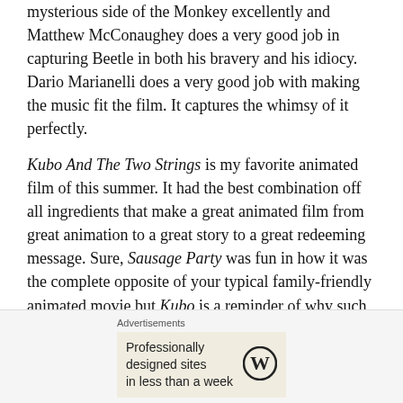mysterious side of the Monkey excellently and Matthew McConaughey does a very good job in capturing Beetle in both his bravery and his idiocy. Dario Marianelli does a very good job with making the music fit the film. It captures the whimsy of it perfectly.
Kubo And The Two Strings is my favorite animated film of this summer. It had the best combination off all ingredients that make a great animated film from great animation to a great story to a great redeeming message. Sure, Sausage Party was fun in how it was the complete opposite of your typical family-friendly animated movie but Kubo is a reminder of why such movies win us over time after time. Also it helped me get my sanity back.
Advertisements
Professionally designed sites in less than a week